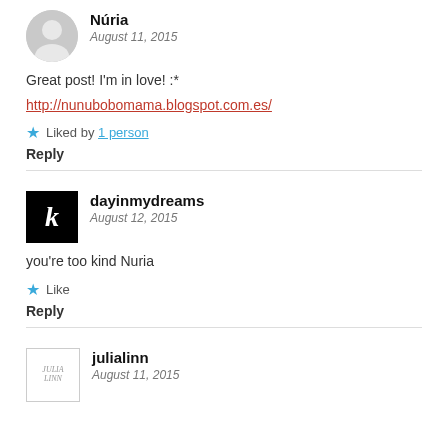[Figure (illustration): Gray circular avatar placeholder for user Nuria]
Núria
August 11, 2015
Great post! I'm in love! :*
http://nunubobomama.blogspot.com.es/
Liked by 1 person
Reply
[Figure (logo): Black square with white italic letter k — avatar for dayinmydreams]
dayinmydreams
August 12, 2015
you're too kind Nuria
Like
Reply
[Figure (logo): Julia Linn stylized text logo avatar]
julialinn
August 11, 2015